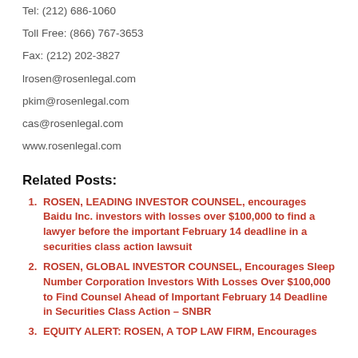Tel: (212) 686-1060
Toll Free: (866) 767-3653
Fax: (212) 202-3827
lrosen@rosenlegal.com
pkim@rosenlegal.com
cas@rosenlegal.com
www.rosenlegal.com
Related Posts:
ROSEN, LEADING INVESTOR COUNSEL, encourages Baidu Inc. investors with losses over $100,000 to find a lawyer before the important February 14 deadline in a securities class action lawsuit
ROSEN, GLOBAL INVESTOR COUNSEL, Encourages Sleep Number Corporation Investors With Losses Over $100,000 to Find Counsel Ahead of Important February 14 Deadline in Securities Class Action – SNBR
EQUITY ALERT: ROSEN, A TOP LAW FIRM, Encourages